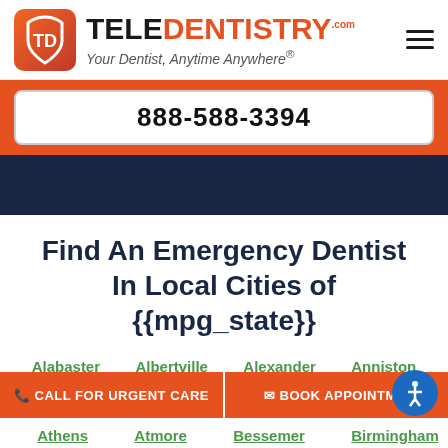[Figure (logo): TeleDentistry logo with orange shield icon and text 'TELEDENTISTRY.com — Your Dentist, Anytime Anywhere®']
888-588-3394
Find An Emergency Dentist In Local Cities of {{mpg_state}}
Alabaster
Albertville
Alexander
Anniston
Athens
Atmore
Bessemer
Birmingham